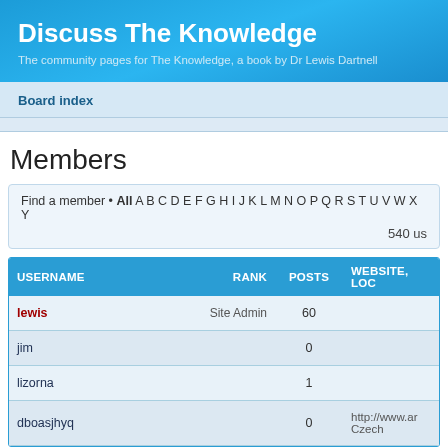Discuss The Knowledge
The community pages for The Knowledge, a book by Dr Lewis Dartnell
Board index
Members
Find a member • All A B C D E F G H I J K L M N O P Q R S T U V W X Y  540 us
| USERNAME | RANK | POSTS | WEBSITE, LOC |
| --- | --- | --- | --- |
| lewis | Site Admin | 60 |  |
| jim |  | 0 |  |
| lizorna |  | 1 |  |
| dboasjhyq |  | 0 | http://www.ar Czech |